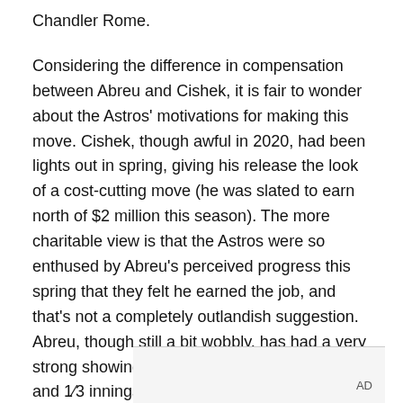Chandler Rome.
Considering the difference in compensation between Abreu and Cishek, it is fair to wonder about the Astros' motivations for making this move. Cishek, though awful in 2020, had been lights out in spring, giving his release the look of a cost-cutting move (he was slated to earn north of $2 million this season). The more charitable view is that the Astros were so enthused by Abreu's perceived progress this spring that they felt he earned the job, and that's not a completely outlandish suggestion. Abreu, though still a bit wobbly, has had a very strong showing down in Florida, completing 7 and 1⁄3 innings prior to today while striking out 6 against just 1 walk.
AD